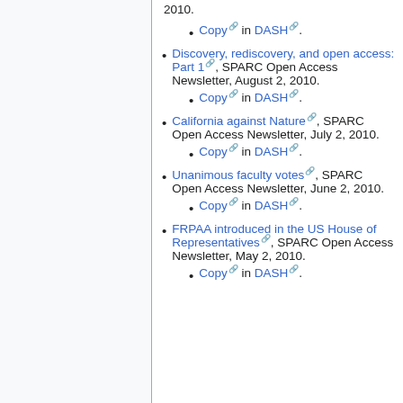2010.
Copy in DASH.
Discovery, rediscovery, and open access: Part 1, SPARC Open Access Newsletter, August 2, 2010.
Copy in DASH.
California against Nature, SPARC Open Access Newsletter, July 2, 2010.
Copy in DASH.
Unanimous faculty votes, SPARC Open Access Newsletter, June 2, 2010.
Copy in DASH.
FRPAA introduced in the US House of Representatives, SPARC Open Access Newsletter, May 2, 2010.
Copy in DASH.